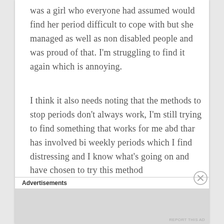was a girl who everyone had assumed would find her period difficult to cope with but she managed as well as non disabled people and was proud of that. I'm struggling to find it again which is annoying.
I think it also needs noting that the methods to stop periods don't always work, I'm still trying to find something that works for me abd thar has involved bi weekly periods which I find distressing and I know what's going on and have chosen to try this method
There are resources out there to help parents
Advertisements